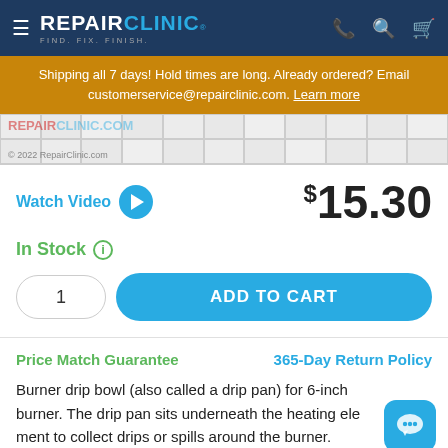REPAIR CLINIC – FIND. FIX. FINISH.
Shipping all 7 days! Hold times are long. Already ordered? Email customerservice@repairclinic.com. Learn more
[Figure (other): Watermark/grid image strip with RepairClinic.com logo and copyright 2022 RepairClinic.com]
Watch Video
$15.30
In Stock
1
ADD TO CART
Price Match Guarantee
365-Day Return Policy
Burner drip bowl (also called a drip pan) for 6-inch burner. The drip pan sits underneath the heating element to collect drips or spills around the burner.